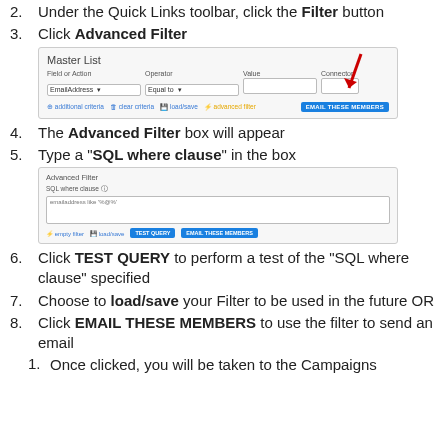Under the Quick Links toolbar, click the Filter button
Click Advanced Filter
[Figure (screenshot): Screenshot of Master List filter interface showing Field or Action (EmailAddress), Operator (Equal to), Value field, Connector, additional criteria, clear criteria, load/save, advanced filter links, and EMAIL THESE MEMBERS button, with a red arrow pointing to the advanced filter link]
The Advanced Filter box will appear
Type a "SQL where clause" in the box
[Figure (screenshot): Screenshot of Advanced Filter box showing SQL where clause input with emailaddress like '%@%' text and buttons: empty filter, load/save, TEST QUERY, EMAIL THESE MEMBERS]
Click TEST QUERY to perform a test of the "SQL where clause" specified
Choose to load/save your Filter to be used in the future OR
Click EMAIL THESE MEMBERS to use the filter to send an email
Once clicked, you will be taken to the Campaigns